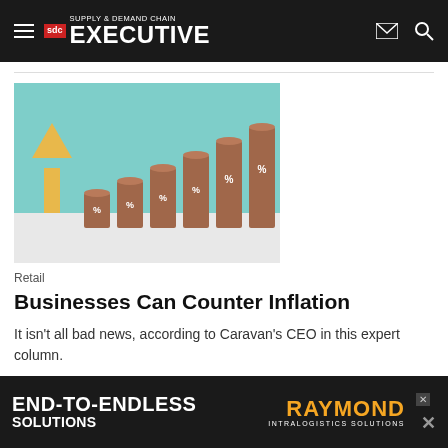Supply & Demand Chain Executive
[Figure (photo): Rising stacks of wooden cylinders with percent signs and a yellow arrow pointing upward against a teal background, representing inflation growth]
Retail
Businesses Can Counter Inflation
It isn't all bad news, according to Caravan's CEO in this expert column.
Caravan Tech    August 5, 2022
[Figure (infographic): END-TO-ENDLESS SOLUTIONS advertisement banner for Raymond Intralogistics Solutions]